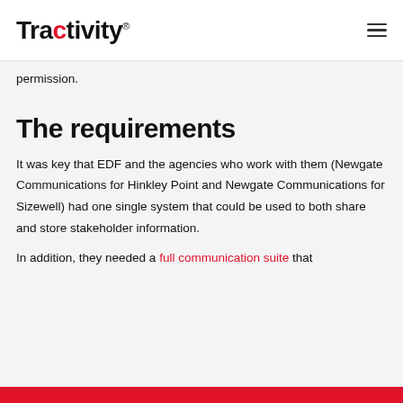Tractivity®
permission.
The requirements
It was key that EDF and the agencies who work with them (Newgate Communications for Hinkley Point and Newgate Communications for Sizewell) had one single system that could be used to both share and store stakeholder information.
In addition, they needed a full communication suite that